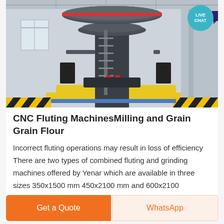[Figure (photo): Large industrial CNC fluting/milling machine inside a factory building. The machine is tall with a cylindrical column, spiral stairs, and a large circular platform at the top. The factory has high ceilings with metal framework and columns.]
CNC Fluting MachinesMilling and Grain Grain Flour
Incorrect fluting operations may result in loss of efficiency There are two types of combined fluting and grinding machines offered by Yenar which are available in three sizes 350x1500 mm 450x2100 mm and 600x2100